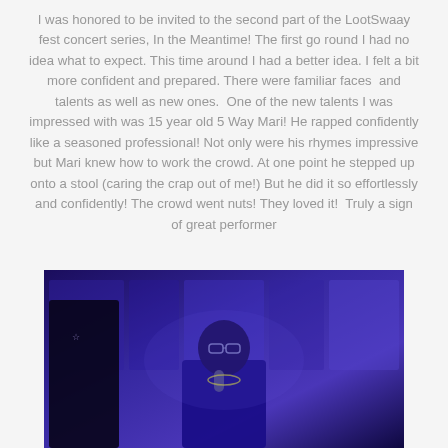I was honored to be invited to the second part of the LootSwaay fest concert series, In the Meantime! The first go round I had no idea what to expect. This time around I had a better idea. I felt a bit more confident and prepared. There were familiar faces  and talents as well as new ones.  One of the new talents I was impressed with was 15 year old 5 Way Mari! He rapped confidently like a seasoned professional! Not only were his rhymes impressive but Mari knew how to work the crowd. At one point he stepped up onto a stool (caring the crap out of me!) But he did it so effortlessly and confidently! The crowd went nuts! They loved it!  Truly a sign of great performer
[Figure (photo): A performer on stage under blue/purple stage lighting, holding a microphone, wearing glasses. Another person visible in dark silhouette on the left. Acoustic panels visible on the back wall.]